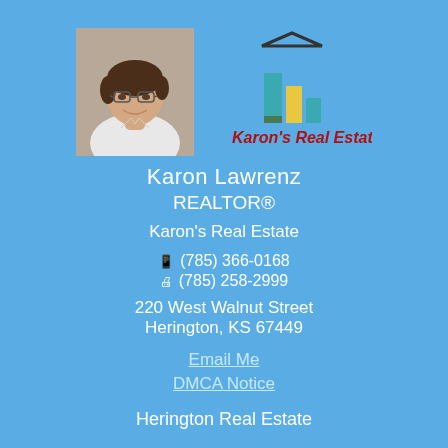[Figure (photo): Headshot photo of Karon Lawrenz, a woman with short brown hair and glasses, wearing a white top, smiling]
[Figure (logo): Karon's Real Estate logo: bar chart icon in teal and yellow with dark outline house/arrow shape, red italic text 'Karon's Real Estate']
Karon Lawrenz
REALTOR®
Karon's Real Estate
📱 (785) 366-0168
🖨 (785) 258-2999
220 West Walnut Street
Herington, KS 67449
Email Me
DMCA Notice
Herington Real Estate